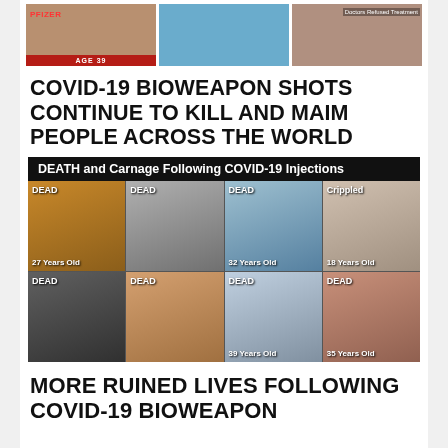[Figure (photo): Three photos at top: person with Pfizer label and AGE 39, middle person in blue shirt, right person with text Doctors Refused Treatment]
COVID-19 BIOWEAPON SHOTS CONTINUE TO KILL AND MAIM PEOPLE ACROSS THE WORLD
[Figure (infographic): Grid of 8 photos labeled DEATH and Carnage Following COVID-19 Injections. Top row: DEAD 27 Years Old, DEAD (older woman), DEAD 32 Years Old, Crippled 18 Years Old. Bottom row: DEAD (man in hat), DEAD (woman), DEAD 39 Years Old, DEAD 35 Years Old]
MORE RUINED LIVES FOLLOWING COVID-19 BIOWEAPON